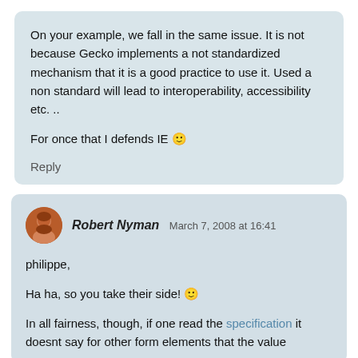On your example, we fall in the same issue. It is not because Gecko implements a not standardized mechanism that it is a good practice to use it. Used a non standard will lead to interoperability, accessibility etc. ..
For once that I defends IE 🙂
Reply
Robert Nyman  March 7, 2008 at 16:41
philippe,
Ha ha, so you take their side! 🙂
In all fairness, though, if one read the specification it doesnt say for other form elements that the value